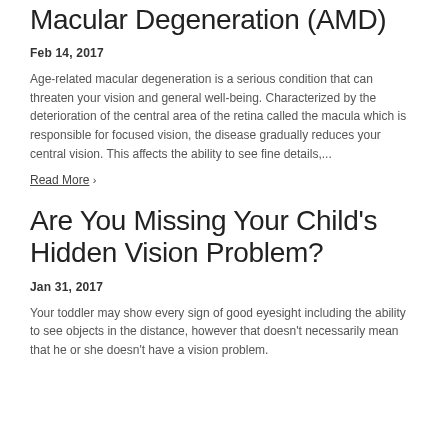Macular Degeneration (AMD)
Feb 14, 2017
Age-related macular degeneration is a serious condition that can threaten your vision and general well-being. Characterized by the deterioration of the central area of the retina called the macula which is responsible for focused vision, the disease gradually reduces your central vision. This affects the ability to see fine details,...
Read More ›
Are You Missing Your Child's Hidden Vision Problem?
Jan 31, 2017
Your toddler may show every sign of good eyesight including the ability to see objects in the distance, however that doesn't necessarily mean that he or she doesn't have a vision problem.